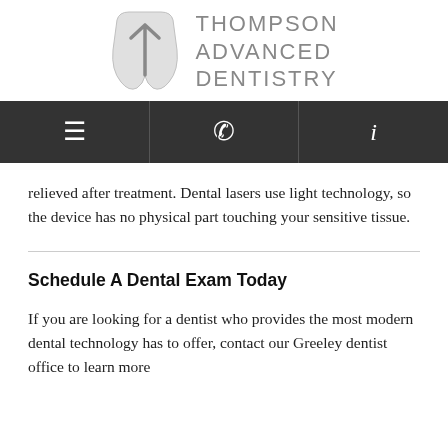[Figure (logo): Thompson Advanced Dentistry logo with stylized T icon and text]
≡  ✆  i (navigation bar with menu, phone, and info icons)
relieved after treatment. Dental lasers use light technology, so the device has no physical part touching your sensitive tissue.
Schedule A Dental Exam Today
If you are looking for a dentist who provides the most modern dental technology has to offer, contact our Greeley dentist office to learn more